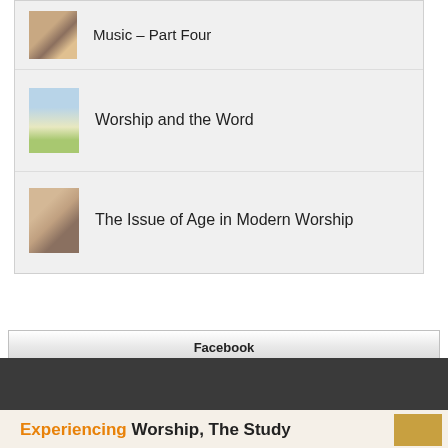Music – Part Four
Worship and the Word
The Issue of Age in Modern Worship
Facebook
Experiencing Worship, The Study